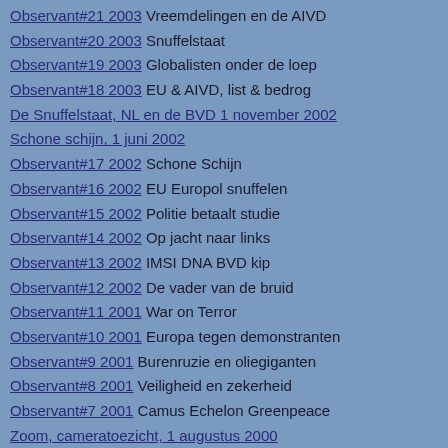Observant#21 2003 Vreemdelingen en de AIVD
Observant#20 2003 Snuffelstaat
Observant#19 2003 Globalisten onder de loep
Observant#18 2003 EU & AIVD, list & bedrog
De Snuffelstaat, NL en de BVD 1 november 2002
Schone schijn, 1 juni 2002
Observant#17 2002 Schone Schijn
Observant#16 2002 EU Europol snuffelen
Observant#15 2002 Politie betaalt studie
Observant#14 2002 Op jacht naar links
Observant#13 2002 IMSI DNA BVD kip
Observant#12 2002 De vader van de bruid
Observant#11 2001 War on Terror
Observant#10 2001 Europa tegen demonstranten
Observant#9 2001 Burenruzie en oliegiganten
Observant#8 2001 Veiligheid en zekerheid
Observant#7 2001 Camus Echelon Greenpeace
Zoom, cameratoezicht, 1 augustus 2000
Tips tegen tralies, 1 juli 2000